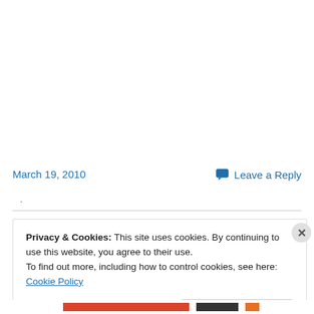March 19, 2010
Leave a Reply
Privacy & Cookies: This site uses cookies. By continuing to use this website, you agree to their use.
To find out more, including how to control cookies, see here: Cookie Policy
Close and accept